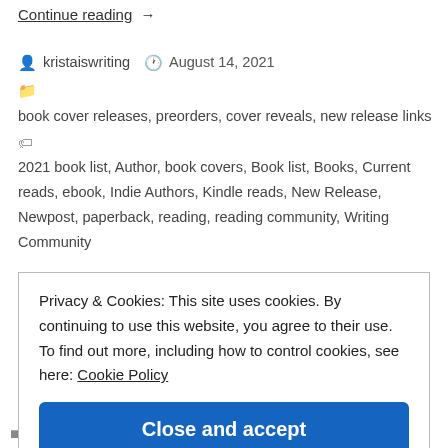Continue reading  →
kristaiswriting   August 14, 2021
book cover releases, preorders, cover reveals, new release links
2021 book list, Author, book covers, Book list, Books, Current reads, ebook, Indie Authors, Kindle reads, New Release, Newpost, paperback, reading, reading community, Writing Community
Privacy & Cookies: This site uses cookies. By continuing to use this website, you agree to their use.
To find out more, including how to control cookies, see here: Cookie Policy
Close and accept
by @danaisalyauthorpage